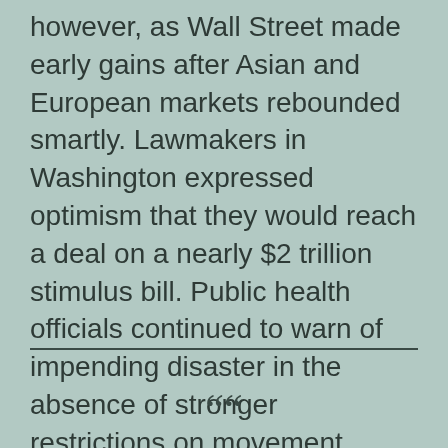however, as Wall Street made early gains after Asian and European markets rebounded smartly. Lawmakers in Washington expressed optimism that they would reach a deal on a nearly $2 trillion stimulus bill. Public health officials continued to warn of impending disaster in the absence of stronger restrictions on movement, saying the uncontrolled spread of the virus could overwhelm health care systems around the world.
““